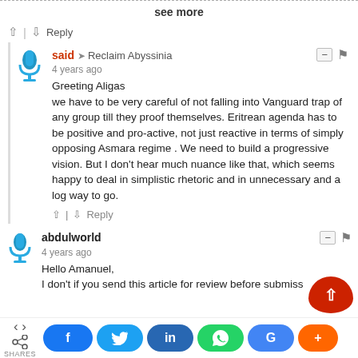see more
^ | v  Reply
said → Reclaim Abyssinia
4 years ago
Greeting Aligas
we have to be very careful of not falling into Vanguard trap of any group till they proof themselves. Eritrean agenda has to be positive and pro-active, not just reactive in terms of simply opposing Asmara regime . We need to build a progressive vision. But I don't hear much nuance like that, which seems happy to deal in simplistic rhetoric and in unnecessary and a log way to go.
^ | v  Reply
abdulworld
4 years ago
Hello Amanuel,
I don't if you send this article for review before submiss